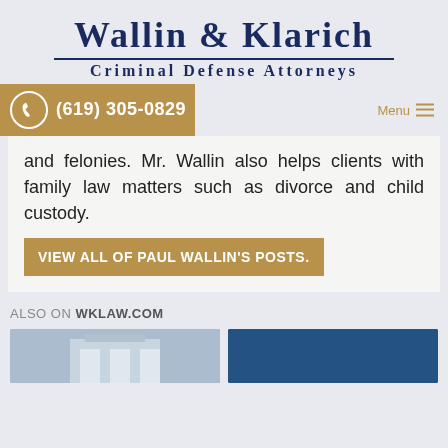Wallin & Klarich — Criminal Defense Attorneys
(619) 305-0829 | Menu
and felonies. Mr. Wallin also helps clients with family law matters such as divorce and child custody.
VIEW ALL OF PAUL WALLIN'S POSTS.
ALSO ON WKLAW.COM
[Figure (photo): Building exterior photo thumbnail]
[Figure (photo): Dark blue image thumbnail]